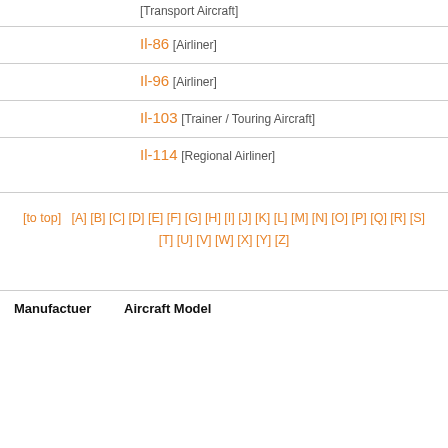[Transport Aircraft]
Il-86
[Airliner]
Il-96
[Airliner]
Il-103
[Trainer / Touring Aircraft]
Il-114
[Regional Airliner]
[to top]  [A] [B] [C] [D] [E] [F] [G] [H] [I] [J] [K] [L] [M] [N] [O] [P] [Q] [R] [S] [T] [U] [V] [W] [X] [Y] [Z]
| Manufactuer | Aircraft Model |
| --- | --- |